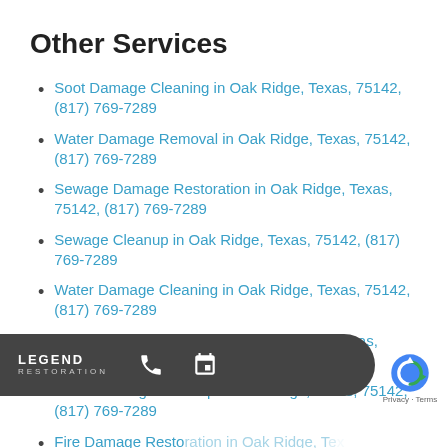Other Services
Soot Damage Cleaning in Oak Ridge, Texas, 75142, (817) 769-7289
Water Damage Removal in Oak Ridge, Texas, 75142, (817) 769-7289
Sewage Damage Restoration in Oak Ridge, Texas, 75142, (817) 769-7289
Sewage Cleanup in Oak Ridge, Texas, 75142, (817) 769-7289
Water Damage Cleaning in Oak Ridge, Texas, 75142, (817) 769-7289
Water Damage Restoration in Oak Ridge, Texas, 75142, (817) 769-7289
Storm Damage Cleanup in Oak Ridge, Texas, 75142, (817) 769-7289
Fire Damage Restoration in Oak Ridge, Texas, 75142, (817) 769-7289
Flood Cleanup in Oak Ridge, Texas, 75142, (817)